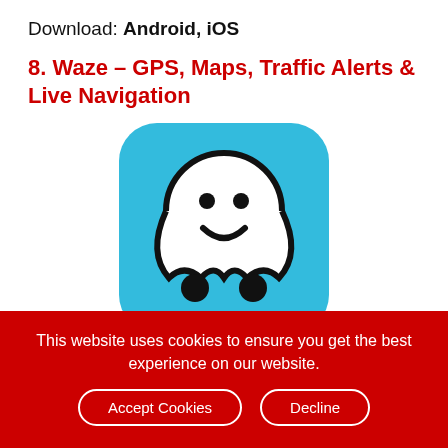Download: Android, iOS
8. Waze – GPS, Maps, Traffic Alerts & Live Navigation
[Figure (logo): Waze app icon: a rounded square with a light blue background featuring the white Waze ghost mascot character with a smiley face and black dot feet]
This website uses cookies to ensure you get the best experience on our website.
Accept Cookies
Decline